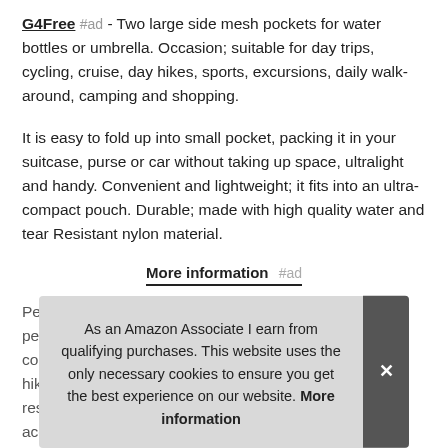G4Free #ad - Two large side mesh pockets for water bottles or umbrella. Occasion; suitable for day trips, cycling, cruise, day hikes, sports, excursions, daily walk-around, camping and shopping.
It is easy to fold up into small pocket, packing it in your suitcase, purse or car without taking up space, ultralight and handy. Convenient and lightweight; it fits into an ultra-compact pouch. Durable; made with high quality water and tear Resistant nylon material.
More information #ad
Perfect companion for trips: this small daypack is the perfect com... hike... resi... acc... organized: two zippered compartments. Untold size: 8. 2/x6.
As an Amazon Associate I earn from qualifying purchases. This website uses the only necessary cookies to ensure you get the best experience on our website. More information